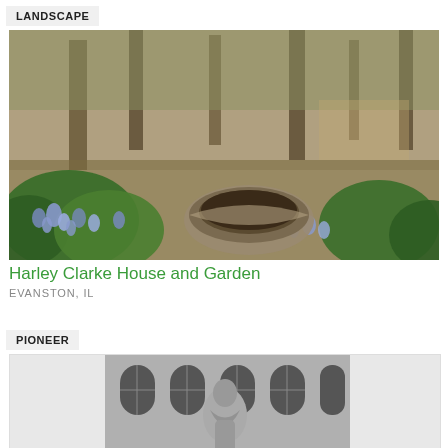LANDSCAPE
[Figure (photo): Garden photo showing blue flowers (bluebells) in the foreground with lush green foliage, a circular stone fire pit or fountain in the middle ground, and tall trees in the background. Outdoor garden setting.]
Harley Clarke House and Garden
EVANSTON, IL
PIONEER
[Figure (photo): Black and white photo showing a stone or carved figure/sculpture in front of a building with arched windows.]